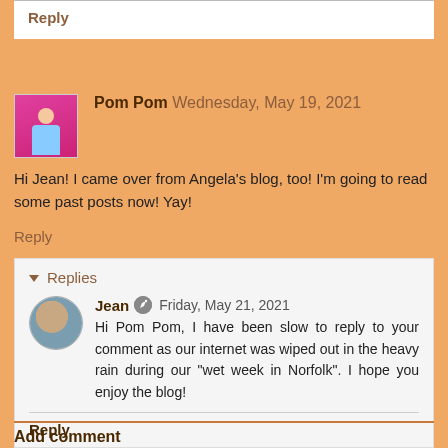Reply
Pom Pom  Wednesday, May 19, 2021
Hi Jean! I came over from Angela's blog, too! I'm going to read some past posts now! Yay!
Reply
Replies
Jean  Friday, May 21, 2021
Hi Pom Pom, I have been slow to reply to your comment as our internet was wiped out in the heavy rain during our "wet week in Norfolk". I hope you enjoy the blog!
Reply
Add comment